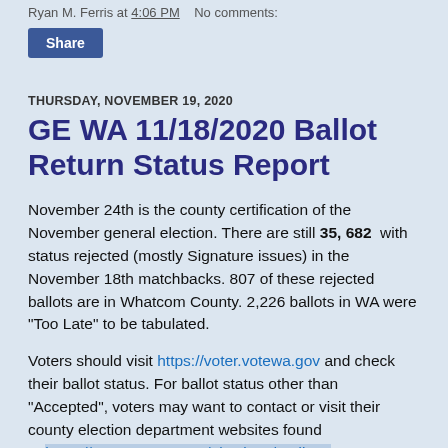Ryan M. Ferris at 4:06 PM   No comments:
Share
THURSDAY, NOVEMBER 19, 2020
GE WA 11/18/2020 Ballot Return Status Report
November 24th is the county certification of the November general election. There are still 35,682 with status rejected (mostly Signature issues) in the November 18th matchbacks. 807 of these rejected ballots are in Whatcom County. 2,226 ballots in WA were "Too Late" to be tabulated.
Voters should visit https://voter.votewa.gov and check their ballot status. For ballot status other than "Accepted", voters may want to contact or visit their county election department websites found at https://www.sos.wa.gov/elections/auditors. For Whatcom County, you can visit: https://www.whatcomcounty.us/1732/Current-